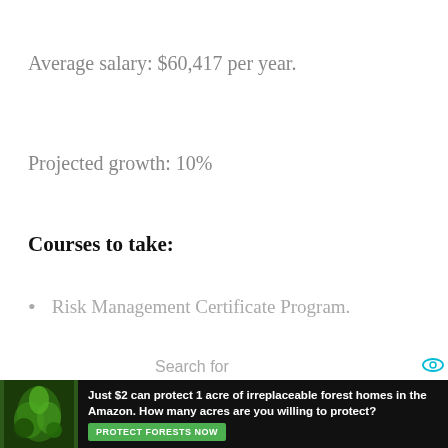Average salary: $60,417 per year.
Projected growth: 10%
Courses to take:
Risk Management Certificate Program.
[Figure (screenshot): Search widget and sponsored ad results showing: 1. FREE CUSTOMER FEEDBACK SURVEYS, 2. PROPOSAL LETTER TO OFFER SERVICES, 3. PRODUCTS MADE IN (truncated). Includes a forest charity ad banner at bottom.]